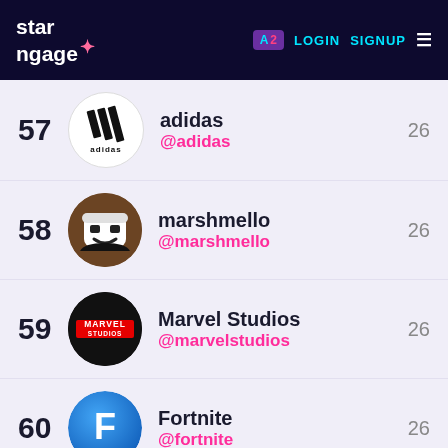starngage | LOGIN SIGNUP
57 adidas @adidas 26
58 marshmello @marshmello 26
59 Marvel Studios @marvelstudios 26
60 Fortnite @fortnite 26